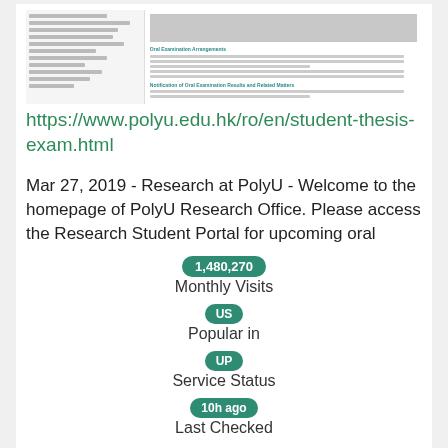[Figure (screenshot): Screenshot of the PolyU student thesis exam webpage showing navigation on the left, a header image at the top right, and sections including 'Oral Examination Arrangements' and 'Notification of Oral Examination Results and Related Matters' with small text blocks.]
https://www.polyu.edu.hk/ro/en/student-thesis-exam.html
Mar 27, 2019 - Research at PolyU - Welcome to the homepage of PolyU Research Office. Please access the Research Student Portal for upcoming oral
1,480,270
Monthly Visits
US
Popular in
UP
Service Status
10h ago
Last Checked